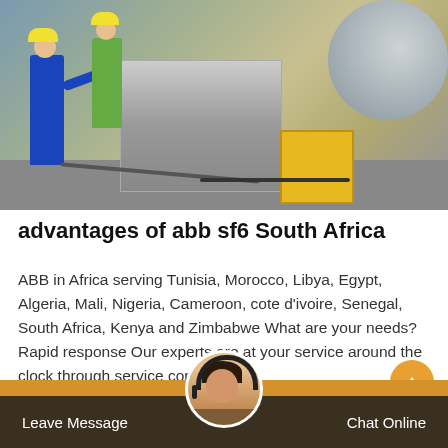[Figure (photo): Construction site photo showing workers in blue coveralls and safety vests operating industrial equipment. Large pipe/vessel visible at top right, yellow equipment stand in center, grey machinery with workers on left side.]
advantages of abb sf6 South Africa
ABB in Africa serving Tunisia, Morocco, Libya, Egypt, Algeria, Mali, Nigeria, Cameroon, cote d'ivoire, Senegal, South Africa, Kenya and Zimbabwe What are your needs? Rapid response Our experts are at your service around the clock through service contacts
Leave Message   Chat Online